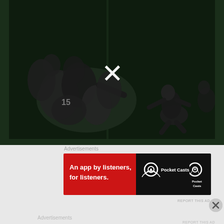[Figure (screenshot): Black and white vintage football game footage with a white X close button overlaid in the center. Players in a pile on the left, a player running on the right.]
Advertisements
[Figure (photo): Advertisement banner for Pocket Casts: 'An app by listeners, for listeners.' Red background with Distributed text logo on left, Pocket Casts logo and wordmark on right.]
REPORT THIS AD
Advertisements
REPORT THIS AD